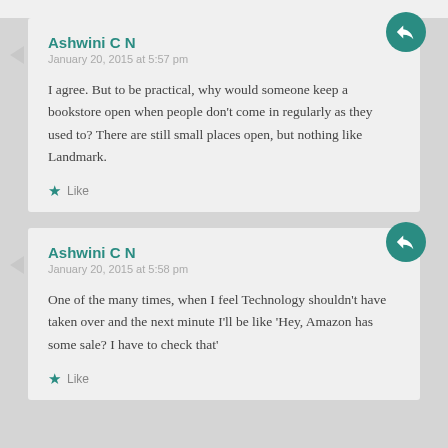Ashwini C N
January 20, 2015 at 5:57 pm
I agree. But to be practical, why would someone keep a bookstore open when people don't come in regularly as they used to? There are still small places open, but nothing like Landmark.
Like
Ashwini C N
January 20, 2015 at 5:58 pm
One of the many times, when I feel Technology shouldn't have taken over and the next minute I'll be like 'Hey, Amazon has some sale? I have to check that'
Like